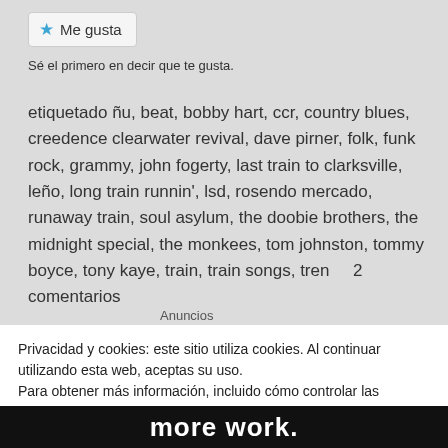Me gusta
Sé el primero en decir que te gusta.
etiquetado ñu, beat, bobby hart, ccr, country blues, creedence clearwater revival, dave pirner, folk, funk rock, grammy, john fogerty, last train to clarksville, leño, long train runnin', lsd, rosendo mercado, runaway train, soul asylum, the doobie brothers, the midnight special, the monkees, tom johnston, tommy boyce, tony kaye, train, train songs, tren     2 comentarios
Anuncios
Privacidad y cookies: este sitio utiliza cookies. Al continuar utilizando esta web, aceptas su uso.
Para obtener más información, incluido cómo controlar las cookies, consulta aquí: Nuestra política de cookies
Cerrar y aceptar
more work.